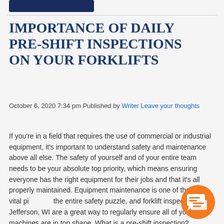[Figure (other): Dark navy blue rectangular banner/button element at top of page]
IMPORTANCE OF DAILY PRE-SHIFT INSPECTIONS ON YOUR FORKLIFTS
October 6, 2020 7:34 pm Published by Writer Leave your thoughts
If you're in a field that requires the use of commercial or industrial equipment, it's important to understand safety and maintenance above all else. The safety of yourself and of your entire team needs to be your absolute top priority, which means ensuring everyone has the right equipment for their jobs and that it's all properly maintained. Equipment maintenance is one of the most vital pieces of the entire safety puzzle, and forklift inspections in Jefferson, WI are a great way to regularly ensure all of your machines are in top shape. What is a pre-shift inspection?
[Figure (illustration): Orange circular chat/message icon button in the lower right area]